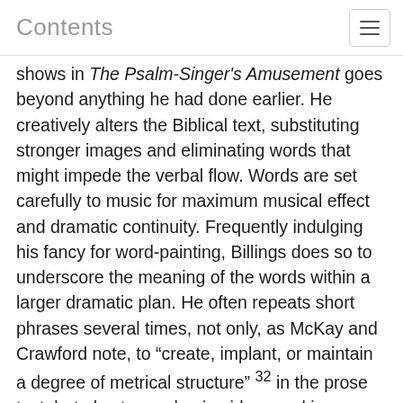Contents
shows in The Psalm-Singer's Amusement goes beyond anything he had done earlier. He creatively alters the Biblical text, substituting stronger images and eliminating words that might impede the verbal flow. Words are set carefully to music for maximum musical effect and dramatic continuity. Frequently indulging his fancy for word-painting, Billings does so to underscore the meaning of the words within a larger dramatic plan. He often repeats short phrases several times, not only, as McKay and Crawford note, to “create, implant, or maintain a degree of metrical structure” 32 in the prose text, but also to emphasize ideas and images. Text repetition is carefully calculated to heighten musical tension and movement toward a musical climax. The anthem “And I Saw a Mighty Angel” 33 is a good example. Its subject is the opening of the Book of Judgment as told in Revelation, Chapter 5. The first third of the anthem, chiefly narrative, proceeds with